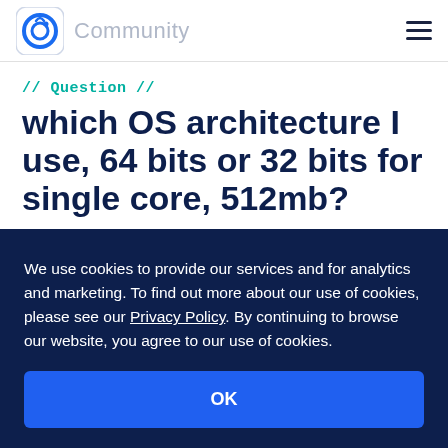Community
// Question //
which OS architecture I use, 64 bits or 32 bits for single core, 512mb?
We use cookies to provide our services and for analytics and marketing. To find out more about our use of cookies, please see our Privacy Policy. By continuing to browse our website, you agree to our use of cookies.
OK